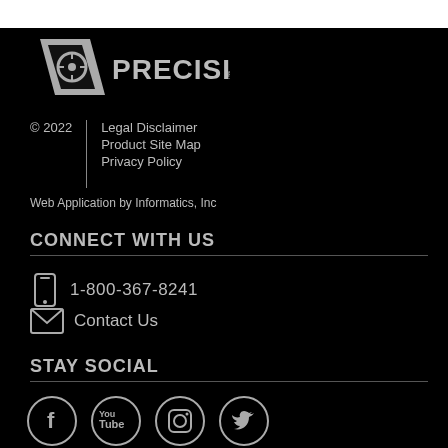[Figure (logo): Precision brand logo with target/crosshair icon and PRECISION text in grey on black background]
© 2022
Legal Disclaimer
Product Site Map
Privacy Policy
Web Application by Informatics, Inc
CONNECT WITH US
1-800-367-8241
Contact Us
STAY SOCIAL
[Figure (illustration): Social media icons: Facebook, YouTube, Instagram, Twitter — circular grey icons on black background]